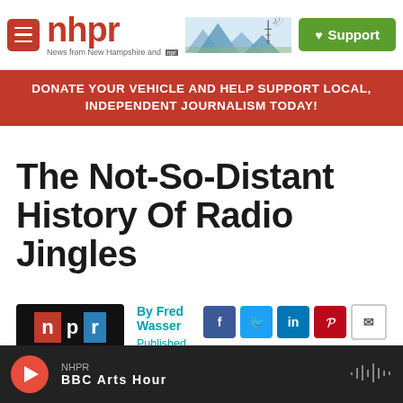nhpr - News from New Hampshire and NPR | Support
DONATE YOUR VEHICLE AND HELP SUPPORT LOCAL, INDEPENDENT JOURNALISM TODAY!
The Not-So-Distant History Of Radio Jingles
By Fred Wasser
Published July 28, 2012 at 7:41 AM EDT
NHPR BBC Arts Hour